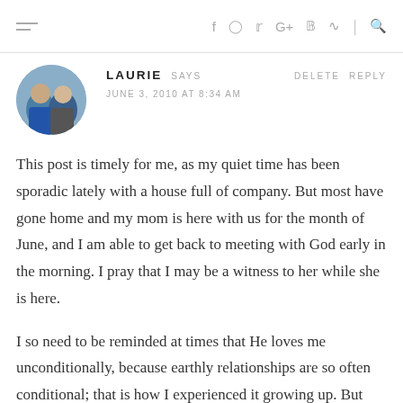[ hamburger menu ] f  o  twitter  G+  p  rss  |  search
LAURIE SAYS   DELETE  REPLY
JUNE 3, 2010 AT 8:34 AM
This post is timely for me, as my quiet time has been sporadic lately with a house full of company. But most have gone home and my mom is here with us for the month of June, and I am able to get back to meeting with God early in the morning. I pray that I may be a witness to her while she is here.
I so need to be reminded at times that He loves me unconditionally, because earthly relationships are so often conditional; that is how I experienced it growing up. But God's love swoops in and He wraps me in His arms. As I read your last